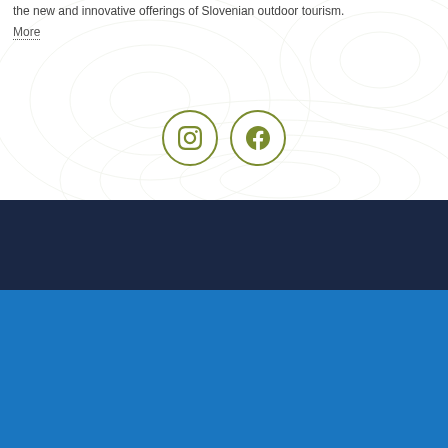the new and innovative offerings of Slovenian outdoor tourism.
More
[Figure (illustration): Instagram and Facebook social media icons in olive/green circles with topographic contour line background]
In order to provide the best possible user experience, our website uses cookies, which allow us to have insight into how you use the website and improve our services and products. More.
ACCEPT